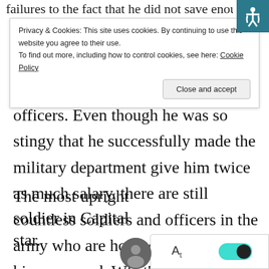failures to the fact that he did not save enough mone
Privacy & Cookies: This site uses cookies. By continuing to use this website you agree to their use.
To find out more, including how to control cookies, see here: Cookie Policy
officers. Even though he was so stingy that he successfully made the military department give him twice as much salary, there are still countless soldiers and officers in the army who are hoping to be under his command. What’s the reason? It’s because being the most stingy wasn’t his only nickname, he also had another one ——
The most upright soldier in Capital star.